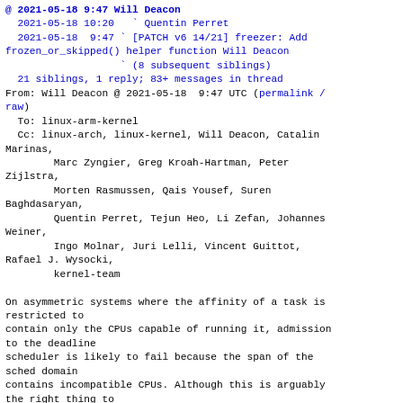@ 2021-05-18  9:47  Will Deacon
  2021-05-18 10:20  ` Quentin Perret
  2021-05-18  9:47 ` [PATCH v6 14/21] freezer: Add frozen_or_skipped() helper function Will Deacon
                   ` (8 subsequent siblings)
  21 siblings, 1 reply; 83+ messages in thread
From: Will Deacon @ 2021-05-18  9:47 UTC (permalink / raw)
  To: linux-arm-kernel
  Cc: linux-arch, linux-kernel, Will Deacon, Catalin Marinas,
        Marc Zyngier, Greg Kroah-Hartman, Peter Zijlstra,
        Morten Rasmussen, Qais Yousef, Suren Baghdasaryan,
        Quentin Perret, Tejun Heo, Li Zefan, Johannes Weiner,
        Ingo Molnar, Juri Lelli, Vincent Guittot, Rafael J. Wysocki,
        kernel-team

On asymmetric systems where the affinity of a task is restricted to
contain only the CPUs capable of running it, admission to the deadline
scheduler is likely to fail because the span of the sched domain
contains incompatible CPUs. Although this is arguably the right thing to
do, it is inconsistent with the case where the affinity of a task is